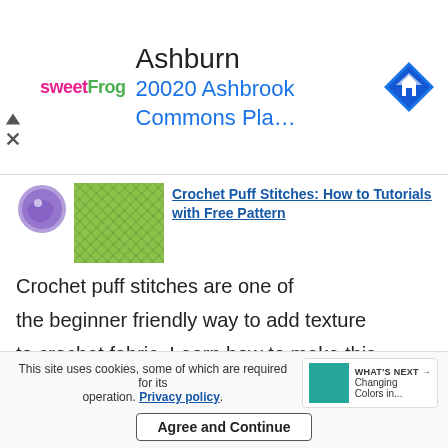[Figure (screenshot): SweetFrog advertisement banner showing Ashburn location at 20020 Ashbrook Commons Pla... with navigation arrow icon]
[Figure (photo): Thumbnail of yellow-green crochet puff stitch texture]
Crochet Puff Stitches: How to Tutorials with Free Pattern
Crochet puff stitches are one of the beginner friendly way to add texture to crochet fabric. Learn how to make this easy stitch by step by step directions.
Follow my blog with
This site uses cookies, some of which are required for its operation. Privacy policy.
WHAT'S NEXT → Changing Colors in...
Agree and Continue